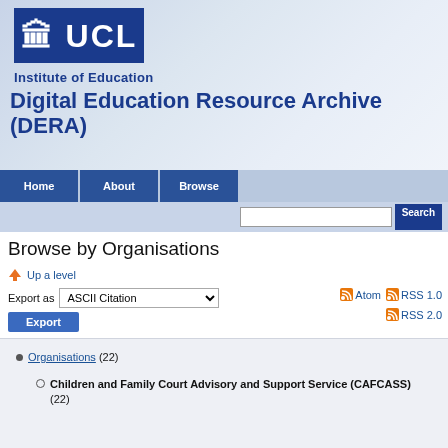[Figure (logo): UCL Institute of Education logo with blue background and white UCL text, with 'Institute of Education' subtitle]
Digital Education Resource Archive (DERA)
Home | About | Browse
Browse by Organisations
Up a level
Export as ASCII Citation | Atom | RSS 1.0 | RSS 2.0 | Export
Organisations (22)
Children and Family Court Advisory and Support Service (CAFCASS) (22)